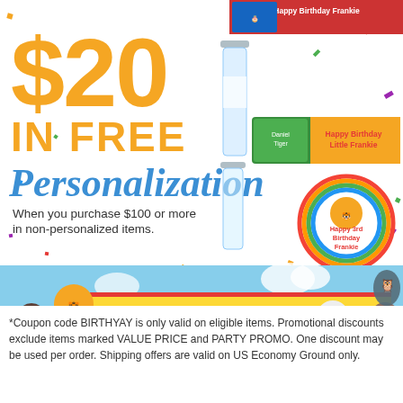[Figure (illustration): Promotional advertisement for personalized birthday party supplies featuring Daniel Tiger characters. Shows '$20 IN FREE Personalization' offer with water bottle and label product images, and a banner reading 'Happy Birthday Little Frankie'. Confetti decorations throughout.]
*Coupon code BIRTHYAY is only valid on eligible items. Promotional discounts exclude items marked VALUE PRICE and PARTY PROMO. One discount may be used per order. Shipping offers are valid on US Economy Ground only.